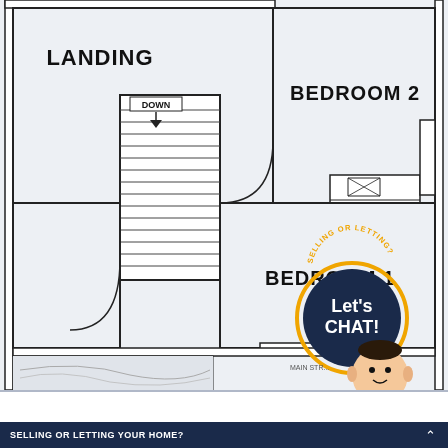[Figure (engineering-diagram): Floor plan showing upper floor with Landing, Bedroom 1, and Bedroom 2. Includes staircase with DOWN label, door arcs, and furniture outlines (bed frames). A chat bubble overlay reads 'SELLING OR LETTING? Let's CHAT!' with a cartoon avatar.]
LANDING
DOWN
BEDROOM 2
BEDROOM 1
SELLING OR LETTING? Let's CHAT!
SELLING OR LETTING YOUR HOME?